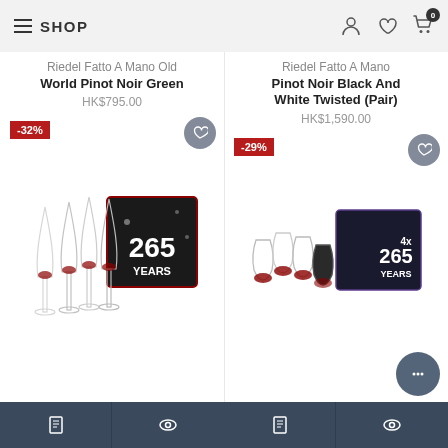SHOP
Riedel Fatto A Mano Old World Pinot Noir Green
HK$795.00
Riedel Fatto A Mano Pinot Noir Black And White Twisted (Pair)
HK$1,590.00
[Figure (photo): Product photo of Riedel 265 Years wine glass set with box, discount badge -32%]
[Figure (photo): Product photo of Riedel 265 Years stemless wine glass set with box, discount badge -29%]